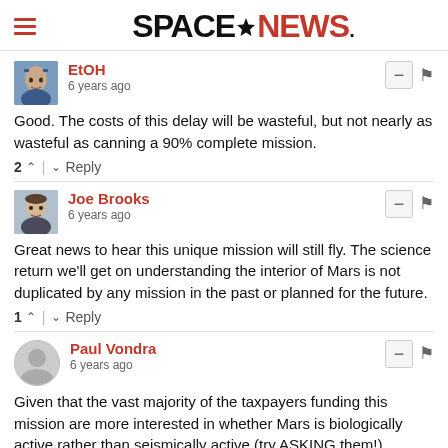SPACENEWS
EtOH
6 years ago
Good. The costs of this delay will be wasteful, but not nearly as wasteful as canning a 90% complete mission.
2 ^ | v Reply
Joe Brooks
6 years ago
Great news to hear this unique mission will still fly. The science return we'll get on understanding the interior of Mars is not duplicated by any mission in the past or planned for the future.
1 ^ | v Reply
Paul Vondra
6 years ago
Given that the vast majority of the taxpayers funding this mission are more interested in whether Mars is biologically active rather than seismically active (try ASKING them!), wouldn't NASA riding herd on missions already at the bott...